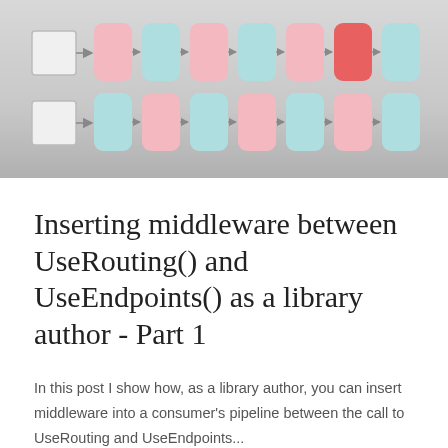[Figure (flowchart): A middleware pipeline diagram showing two input boxes on the left connected by arrows to a sequence of alternating pink and teal rounded rectangles representing middleware components. One teal box is replaced by a red/coral box indicating the inserted middleware.]
Inserting middleware between UseRouting() and UseEndpoints() as a library author - Part 1
In this post I show how, as a library author, you can insert middleware into a consumer's pipeline between the call to UseRouting and UseEndpoints...